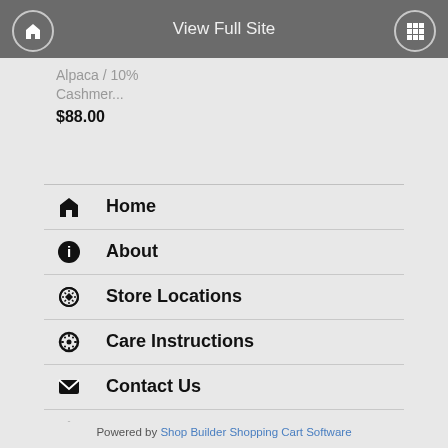View Full Site
Alpaca / 10% Cashmer...
$88.00
Home
About
Store Locations
Care Instructions
Contact Us
View Cart
My Account
© All rights Reserved.
Powered by Shop Builder Shopping Cart Software